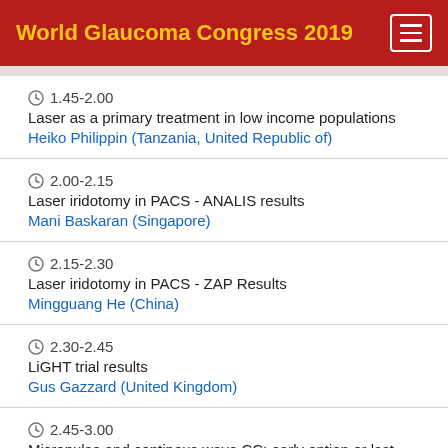World Glaucoma Congress 2019
1.45-2.00
Laser as a primary treatment in low income populations
Heiko Philippin (Tanzania, United Republic of)
2.00-2.15
Laser iridotomy in PACS - ANALIS results
Mani Baskaran (Singapore)
2.15-2.30
Laser iridotomy in PACS - ZAP Results
Mingguang He (China)
2.30-2.45
LiGHT trial results
Gus Gazzard (United Kingdom)
2.45-3.00
Micropulse and continous wave CC: early option or last resort